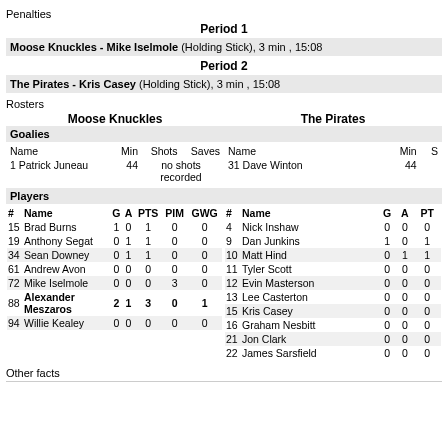Penalties
Period 1
Moose Knuckles - Mike Iselmole (Holding Stick), 3 min , 15:08
Period 2
The Pirates - Kris Casey (Holding Stick), 3 min , 15:08
Rosters
| # | Name | G | A | PTS | PIM | GWG | # | Name | G | A | PTS |
| --- | --- | --- | --- | --- | --- | --- | --- | --- | --- | --- | --- |
| 15 | Brad Burns | 1 | 0 | 1 | 0 | 0 | 4 | Nick Inshaw | 0 | 0 | 0 |
| 19 | Anthony Segat | 0 | 1 | 1 | 0 | 0 | 9 | Dan Junkins | 1 | 0 | 1 |
| 34 | Sean Downey | 0 | 1 | 1 | 0 | 0 | 10 | Matt Hind | 0 | 1 | 1 |
| 61 | Andrew Avon | 0 | 0 | 0 | 0 | 0 | 11 | Tyler Scott | 0 | 0 | 0 |
| 72 | Mike Iselmole | 0 | 0 | 0 | 3 | 0 | 12 | Evin Masterson | 0 | 0 | 0 |
| 88 | Alexander Meszaros | 2 | 1 | 3 | 0 | 1 | 13 | Lee Casterton | 0 | 0 | 0 |
| 94 | Willie Kealey | 0 | 0 | 0 | 0 | 0 | 15 | Kris Casey | 0 | 0 | 0 |
|  |  |  |  |  |  |  | 16 | Graham Nesbitt | 0 | 0 | 0 |
|  |  |  |  |  |  |  | 21 | Jon Clark | 0 | 0 | 0 |
|  |  |  |  |  |  |  | 22 | James Sarsfield | 0 | 0 | 0 |
Other facts